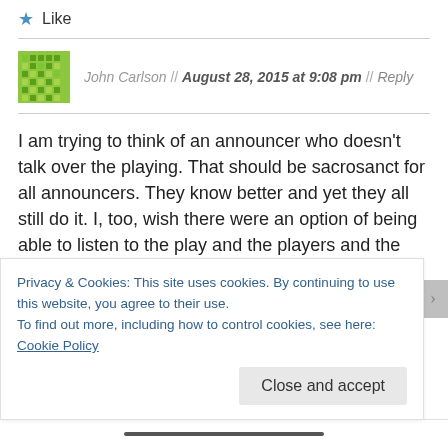★ Like
John Carlson // August 28, 2015 at 9:08 pm // Reply
I am trying to think of an announcer who doesn't talk over the playing. That should be sacrosanct for all announcers. They know better and yet they all still do it. I, too, wish there were an option of being able to listen to the play and the players and the court side crowds without having the incessant drone of inanity spewed forth from the announcers. Are they paid by the word? I have taken to muting constantly back and forth just
Privacy & Cookies: This site uses cookies. By continuing to use this website, you agree to their use.
To find out more, including how to control cookies, see here: Cookie Policy
Close and accept